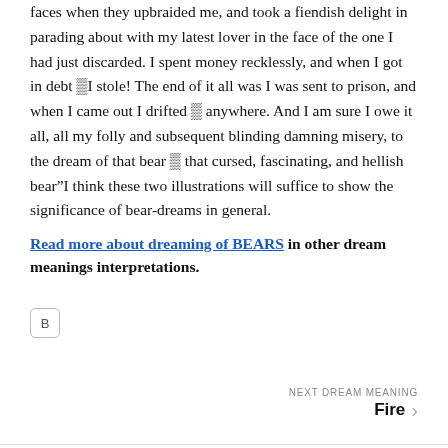faces when they upbraided me, and took a fiendish delight in parading about with my latest lover in the face of the one I had just discarded. I spent money recklessly, and when I got in debt ■I stole! The end of it all was I was sent to prison, and when I came out I drifted ■ anywhere. And I am sure I owe it all, all my folly and subsequent blinding damning misery, to the dream of that bear ■ that cursed, fascinating, and hellish bear”I think these two illustrations will suffice to show the significance of bear-dreams in general.
Read more about dreaming of BEARS in other dream meanings interpretations.
[Figure (other): A small square icon with the letter B, representing a social sharing or bookmarking button with rounded corners and a light border.]
NEXT DREAM MEANING Fire